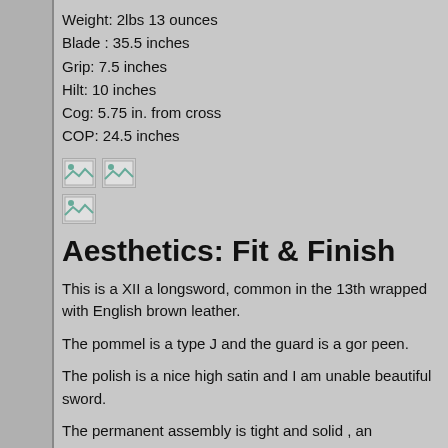Weight: 2lbs 13 ounces
Blade : 35.5 inches
Grip: 7.5 inches
Hilt: 10 inches
Cog: 5.75 in. from cross
COP: 24.5 inches
[Figure (photo): Two small image placeholders (broken image icons)]
[Figure (photo): One small image placeholder (broken image icon)]
Aesthetics: Fit & Finish
This is a XII a longsword, common in the 13th wrapped with English brown leather.
The pommel is a type J and the guard is a gor peen.
The polish is a nice high satin and I am unable beautiful sword.
The permanent assembly is tight and solid , an